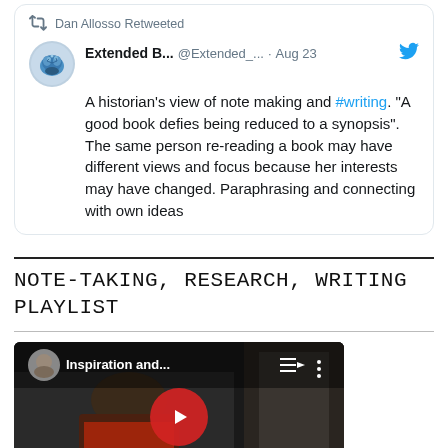Dan Allosso Retweeted
Extended B... @Extended_. · Aug 23
A historian's view of note making and #writing. "A good book defies being reduced to a synopsis". The same person re-reading a book may have different views and focus because her interests may have changed. Paraphrasing and connecting with own ideas
NOTE-TAKING, RESEARCH, WRITING PLAYLIST
[Figure (screenshot): YouTube video thumbnail showing a man in a red shirt titled 'Inspiration and...' with a red play button in the center and text at the bottom reading 'Inspiration & Intens...']